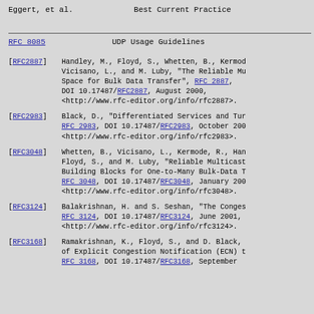Eggert, et al.                    Best Current Practice
RFC 8085                          UDP Usage Guidelines
[RFC2887]   Handley, M., Floyd, S., Whetten, B., Kermode, R., Vicisano, L., and M. Luby, "The Reliable Multicast Design Space for Bulk Data Transfer", RFC 2887, DOI 10.17487/RFC2887, August 2000, <http://www.rfc-editor.org/info/rfc2887>.
[RFC2983]   Black, D., "Differentiated Services and Tunnels", RFC 2983, DOI 10.17487/RFC2983, October 2000, <http://www.rfc-editor.org/info/rfc2983>.
[RFC3048]   Whetten, B., Vicisano, L., Kermode, R., Handley, M., Floyd, S., and M. Luby, "Reliable Multicast Transport Building Blocks for One-to-Many Bulk-Data Transfer", RFC 3048, DOI 10.17487/RFC3048, January 2001, <http://www.rfc-editor.org/info/rfc3048>.
[RFC3124]   Balakrishnan, H. and S. Seshan, "The Congestion Manager", RFC 3124, DOI 10.17487/RFC3124, June 2001, <http://www.rfc-editor.org/info/rfc3124>.
[RFC3168]   Ramakrishnan, K., Floyd, S., and D. Black, "The Addition of Explicit Congestion Notification (ECN) to IP", RFC 3168, DOI 10.17487/RFC3168, September 2001.